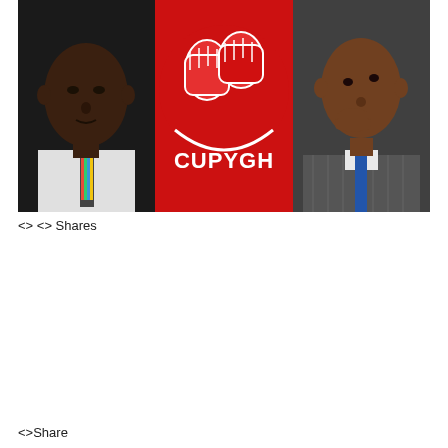[Figure (photo): Three-panel image: left panel shows a dark-skinned man in a white shirt and colorful striped tie against a dark background; center panel shows the OCCUPYGH logo (red fist logo with 'CUPYGH' text); right panel shows a man in a pinstripe suit with a blue tie, hand on chin in a thoughtful pose.]
<> <> Shares
<>Share